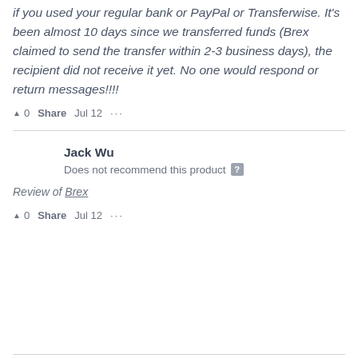if you used your regular bank or PayPal or Transferwise. It's been almost 10 days since we transferred funds (Brex claimed to send the transfer within 2-3 business days), the recipient did not receive it yet. No one would respond or return messages!!!!
▲ 0   Share   Jul 12   ···
Jack Wu
Does not recommend this product ?
Review of Brex
▲ 0   Share   Jul 12   ···